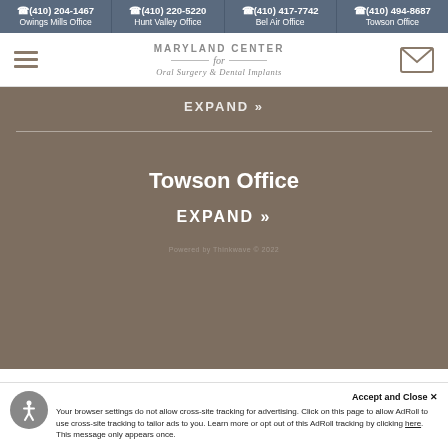(410) 204-1467 Owings Mills Office | (410) 220-5220 Hunt Valley Office | (410) 417-7742 Bel Air Office | (410) 494-8687 Towson Office
[Figure (logo): Maryland Center for Oral Surgery & Dental Implants logo with hamburger menu and email icon]
EXPAND »
Towson Office
EXPAND »
Your browser settings do not allow cross-site tracking for advertising. Click on this page to allow AdRoll to use cross-site tracking to tailor ads to you. Learn more or opt out of this AdRoll tracking by clicking here. This message only appears once.